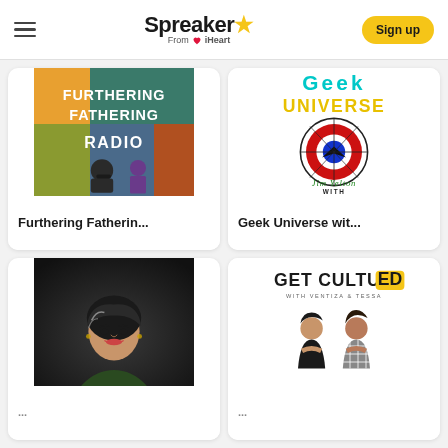Spreaker From iHeart — Sign up
[Figure (illustration): Podcast card: Furthering Fathering Radio — illustrated artwork with colorful patchwork panels featuring text FURTHERING FATHERING RADIO and silhouetted figures]
Furthering Fatherin...
[Figure (illustration): Podcast card: Geek Universe with Jim Yelton — artwork with GEEK UNIVERSE text in teal and yellow, superhero/spider-web themed graphic with Jim Yelton script signature]
Geek Universe wit...
[Figure (photo): Podcast card bottom-left: Professional photo of an Asian woman with short dark hair with highlights, wearing a dark green top, smiling]
[Figure (illustration): Podcast card bottom-right: Get Cultured with Ventiza & Tessa — white background with GET CULTURED text and two women posing]